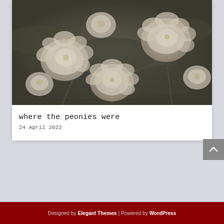[Figure (photo): A muted, desaturated photograph of white/cream peonies in a garden with dark green foliage background]
where the peonies were
24 April 2022
Designed by Elegant Themes | Powered by WordPress